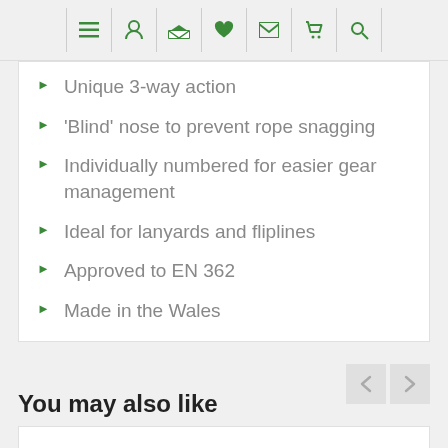[Navigation bar with icons: menu, user, graduation cap, heart, mail, cart, search]
Unique 3-way action
'Blind' nose to prevent rope snagging
Individually numbered for easier gear management
Ideal for lanyards and fliplines
Approved to EN 362
Made in the Wales
You may also like